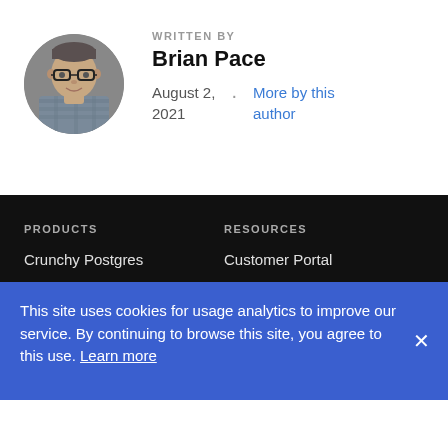[Figure (photo): Circular profile photo of Brian Pace, a man wearing glasses and a plaid shirt, gray background]
WRITTEN BY
Brian Pace
August 2, 2021
More by this author
PRODUCTS
RESOURCES
Crunchy Postgres
Customer Portal
Crunchy Postgres for
Software Documentation
This site uses cookies for usage analytics to improve our service. By continuing to browse this site, you agree to this use. Learn more